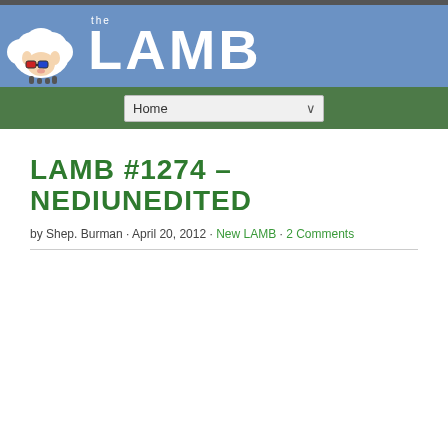the LAMB
LAMB #1274 – NEDIUNEDITED
by Shep. Burman · April 20, 2012 · New LAMB · 2 Comments